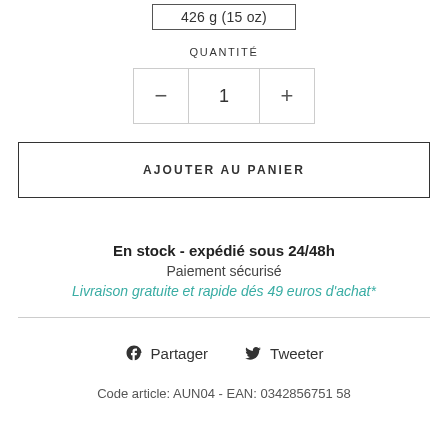426 g (15 oz)
QUANTITÉ
- 1 +
AJOUTER AU PANIER
En stock - expédié sous 24/48h
Paiement sécurisé
Livraison gratuite et rapide dés 49 euros d'achat*
Partager
Tweeter
Code article: AUN04 - EAN: 0342856751 58